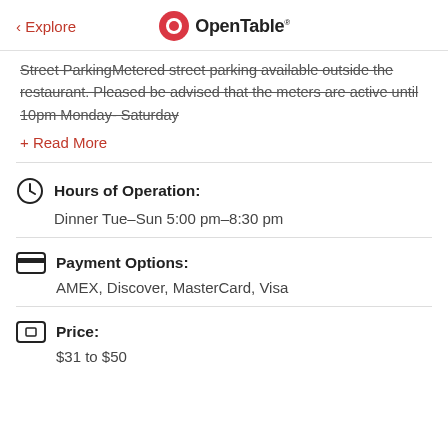< Explore | OpenTable
Street ParkingMetered street parking available outside the restaurant. Pleased be advised that the meters are active until 10pm Monday- Saturday
+ Read More
Hours of Operation: Dinner Tue–Sun 5:00 pm–8:30 pm
Payment Options: AMEX, Discover, MasterCard, Visa
Price: $31 to $50